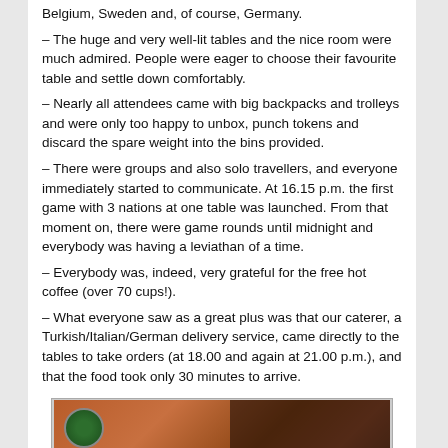Belgium, Sweden and, of course, Germany.
– The huge and very well-lit tables and the nice room were much admired. People were eager to choose their favourite table and settle down comfortably.
– Nearly all attendees came with big backpacks and trolleys and were only too happy to unbox, punch tokens and discard the spare weight into the bins provided.
– There were groups and also solo travellers, and everyone immediately started to communicate. At 16.15 p.m. the first game with 3 nations at one table was launched. From that moment on, there were game rounds until midnight and everybody was having a leviathan of a time.
– Everybody was, indeed, very grateful for the free hot coffee (over 70 cups!).
– What everyone saw as a great plus was that our caterer, a Turkish/Italian/German delivery service, came directly to the tables to take orders (at 18.00 and again at 21.00 p.m.), and that the food took only 30 minutes to arrive.
[Figure (photo): Photo of a board game being played on a table, showing game components including tokens and boards in warm brown/orange tones.]